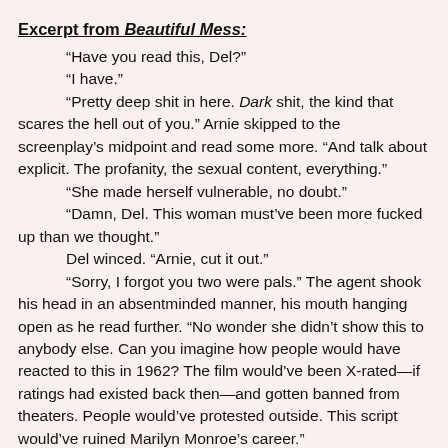Excerpt from Beautiful Mess:
“Have you read this, Del?”
“I have.”
“Pretty deep shit in here. Dark shit, the kind that scares the hell out of you.” Arnie skipped to the screenplay’s midpoint and read some more. “And talk about explicit. The profanity, the sexual content, everything.”
“She made herself vulnerable, no doubt.”
“Damn, Del. This woman must’ve been more fucked up than we thought.”
Del winced. “Arnie, cut it out.”
“Sorry, I forgot you two were pals.” The agent shook his head in an absentminded manner, his mouth hanging open as he read further. “No wonder she didn’t show this to anybody else. Can you imagine how people would have reacted to this in 1962? The film would’ve been X-rated—if ratings had existed back then—and gotten banned from theaters. People would’ve protested outside. This script would’ve ruined Marilyn Monroe’s career.”
“But today—”
“—it’ll resurrect it.”